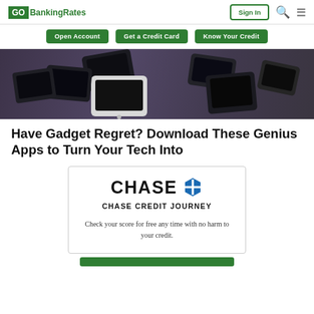GOBankingRates | Sign In
Open Account | Get a Credit Card | Know Your Credit
[Figure (photo): Pile of smartphones on a dark surface]
Have Gadget Regret? Download These Genius Apps to Turn Your Tech Into
[Figure (infographic): Chase Credit Journey advertisement card with Chase logo, title 'CHASE CREDIT JOURNEY', and text 'Check your score for free any time with no harm to your credit.']